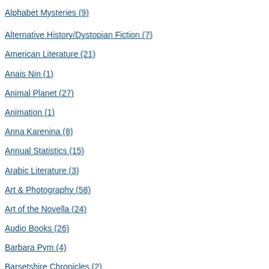Alphabet Mysteries (9)
Alternative History/Dystopian Fiction (7)
American Literature (21)
Anais Nin (1)
Animal Planet (27)
Animation (1)
Anna Karenina (8)
Annual Statistics (15)
Arabic Literature (3)
Art & Photography (58)
Art of the Novella (24)
Audio Books (26)
Barbara Pym (4)
Barsetshire Chronicles (2)
Basketmaking (2)
Beach Books (Seaside) (23)
Biography/Memoir (123)
created keeps y... And this one is v... movie especially
Reply   Septe...
Comments on this post are closed.
[Figure (logo): POWERED BY TypePad logo button]